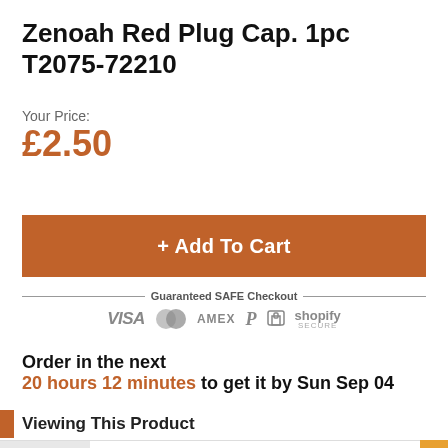Zenoah Red Plug Cap. 1pc T2075-72210
Your Price: £2.50
+ Add To Cart
Guaranteed SAFE Checkout
Order in the next 20 hours 12 minutes to get it by Sun Sep 04
Viewing This Product
Mikaela G. purchased a FG Modellsport STEEL PINION 23T HARD 07432/23
Just now